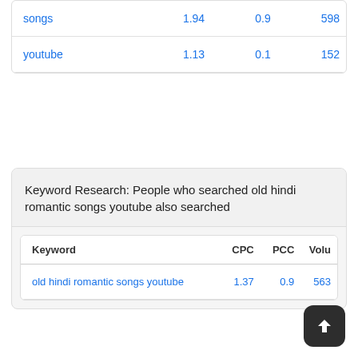| Keyword | CPC | PCC | Volu |
| --- | --- | --- | --- |
| songs | 1.94 | 0.9 | 598 |
| youtube | 1.13 | 0.1 | 152 |
Keyword Research: People who searched old hindi romantic songs youtube also searched
| Keyword | CPC | PCC | Volu |
| --- | --- | --- | --- |
| old hindi romantic songs youtube | 1.37 | 0.9 | 563 |